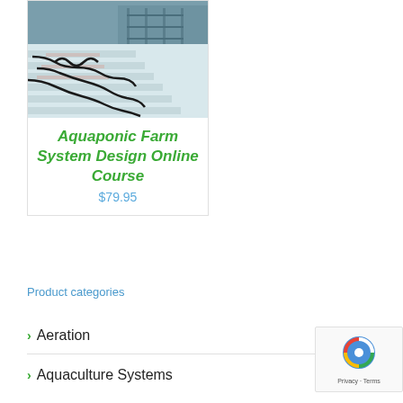[Figure (photo): Indoor aquaponic farm facility showing long white grow beds with black tubing/hoses running along them, seen from above at an angle, inside a large warehouse building.]
Aquaponic Farm System Design Online Course
$79.95
Product categories
Aeration
Aquaculture Systems